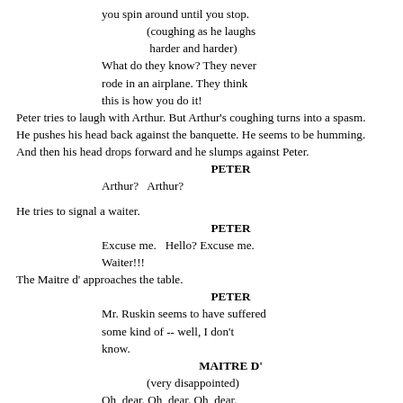you spin around until you stop.
(coughing as he laughs harder and harder)
What do they know? They never rode in an airplane. They think this is how you do it!
Peter tries to laugh with Arthur. But Arthur's coughing turns into a spasm. He pushes his head back against the banquette. He seems to be humming. And then his head drops forward and he slumps against Peter.
PETER
Arthur?   Arthur?
He tries to signal a waiter.
PETER
Excuse me.   Hello? Excuse me. Waiter!!!
The Maitre d' approaches the table.
PETER
Mr. Ruskin seems to have suffered some kind of -- well, I don't know.
MAITRE D'
(very disappointed)
Oh, dear. Oh, dear. Oh, dear.
PETER
I think you'd better call someone.
Arthur drops forward suddenly, his face hitting his